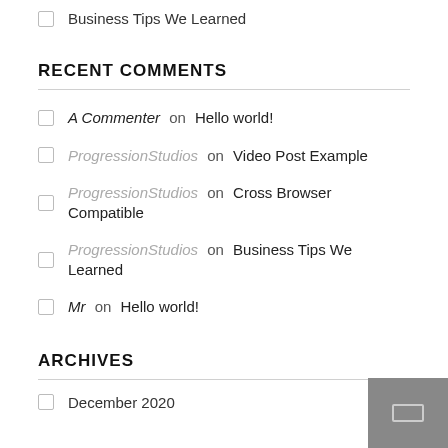Business Tips We Learned
RECENT COMMENTS
A Commenter on Hello world!
ProgressionStudios on Video Post Example
ProgressionStudios on Cross Browser Compatible
ProgressionStudios on Business Tips We Learned
Mr on Hello world!
ARCHIVES
December 2020